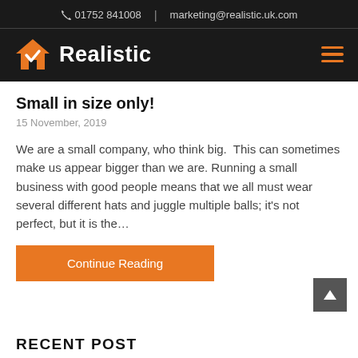📞 01752 841008  |  marketing@realistic.uk.com
[Figure (logo): Realistic logo: orange house with white checkmark, white bold text 'Realistic' on dark background]
Small in size only!
15 November, 2019
We are a small company, who think big.  This can sometimes make us appear bigger than we are. Running a small business with good people means that we all must wear several different hats and juggle multiple balls; it's not perfect, but it is the…
Continue Reading
RECENT POST